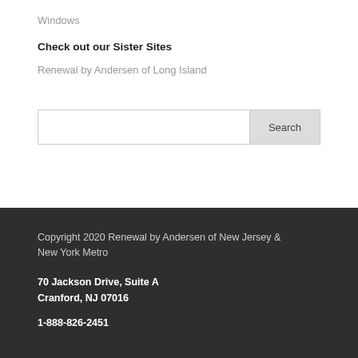Windows
Check out our Sister Sites
Renewal by Andersen of Long Island
Copyright 2020 Renewal by Andersen of New Jersey & New York Metro
70 Jackson Drive, Suite A
Cranford, NJ 07016
1-888-826-2451